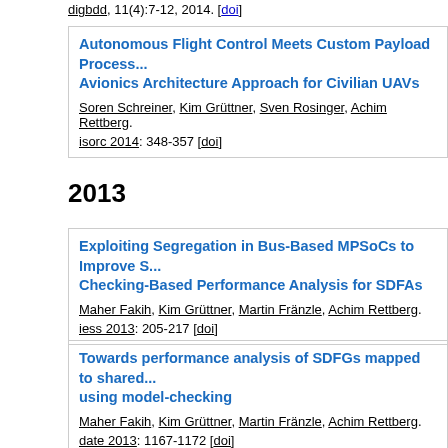digbdd, 11(4):7-12, 2014. [doi]
Autonomous Flight Control Meets Custom Payload Process... Avionics Architecture Approach for Civilian UAVs. Soren Schreiner, Kim Grüttner, Sven Rosinger, Achim Rettberg. isorc 2014: 348-357 [doi]
2013
Exploiting Segregation in Bus-Based MPSoCs to Improve S... Checking-Based Performance Analysis for SDFAs. Maher Fakih, Kim Grüttner, Martin Fränzle, Achim Rettberg. iess 2013: 205-217 [doi]
Towards performance analysis of SDFGs mapped to shared... using model-checking. Maher Fakih, Kim Grüttner, Martin Fränzle, Achim Rettberg. date 2013: 1167-1172 [doi]